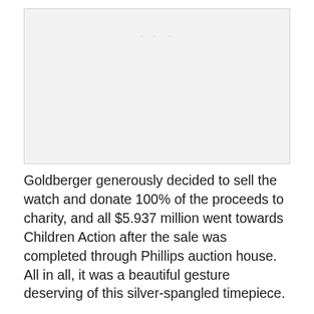[Figure (photo): A light gray placeholder image area with faint dots near the top center, representing a photograph of a watch.]
Goldberger generously decided to sell the watch and donate 100% of the proceeds to charity, and all $5.937 million went towards Children Action after the sale was completed through Phillips auction house. All in all, it was a beautiful gesture deserving of this silver-spangled timepiece.